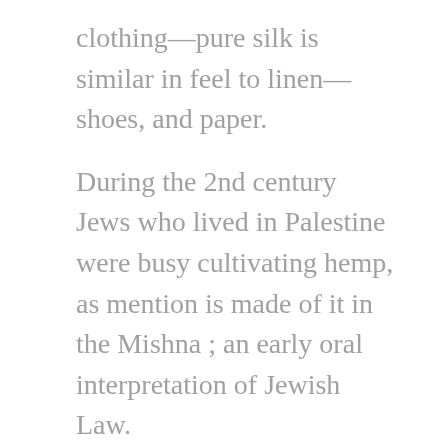clothing—pure silk is similar in feel to linen—shoes, and paper.
During the 2nd century Jews who lived in Palestine were busy cultivating hemp, as mention is made of it in the Mishna ; an early oral interpretation of Jewish Law.
In medieval Italy and Germany, hemp found its way into many recipes. It was a key ingredient in pie fillings, cakes and various soups.
Leaping ahead, the history of hemp